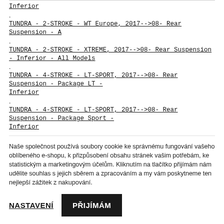Inferior
.
TUNDRA - 2-STROKE - WT Europe, 2017-->08- Rear Suspension - A
.
TUNDRA - 2-STROKE - XTREME, 2017-->08- Rear Suspension - Inferior - All Models
.
TUNDRA - 4-STROKE - LT-SPORT, 2017-->08- Rear Suspension - Package LT - Inferior
.
TUNDRA - 4-STROKE - LT-SPORT, 2017-->08- Rear Suspension - Package Sport - Inferior
Naše společnost používá soubory cookie ke správnému fungování vašeho oblíbeného e-shopu, k přizpůsobení obsahu stránek vašim potřebám, ke statistickým a marketingovým účelům. Kliknutím na tlačítko přijímám nám udělite souhlas s jejich sběrem a zpracováním a my vám poskytneme ten nejlepší zážitek z nakupování.
NASTAVENÍ
PŘIJÍMÁM